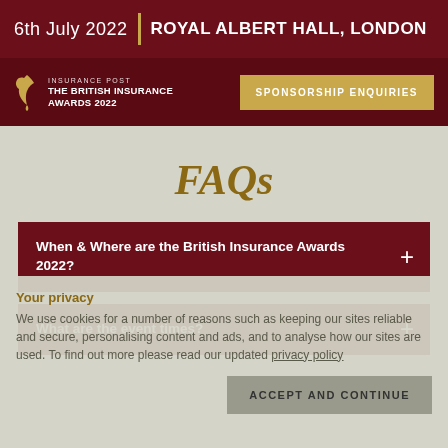6th July 2022 | ROYAL ALBERT HALL, LONDON
[Figure (logo): The British Insurance Awards 2022 logo with golden bird icon on dark red background, alongside SPONSORSHIP ENQUIRIES button]
FAQs
When & Where are the British Insurance Awards 2022?
What are the event times?
Your privacy
We use cookies for a number of reasons such as keeping our sites reliable and secure, personalising content and ads, and to analyse how our sites are used. To find out more please read our updated privacy policy
ACCEPT AND CONTINUE